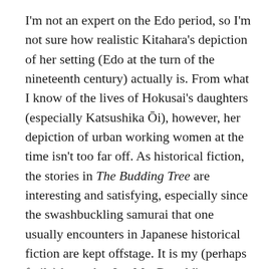I'm not an expert on the Edo period, so I'm not sure how realistic Kitahara's depiction of her setting (Edo at the turn of the nineteenth century) actually is. From what I know of the lives of Hokusai's daughters (especially Katsushika Ōi), however, her depiction of urban working women at the time isn't too far off. As historical fiction, the stories in The Budding Tree are interesting and satisfying, especially since the swashbuckling samurai that one usually encounters in Japanese historical fiction are kept offstage. It is my (perhaps futile) hope that Ian MacDonald's excellent translation will find a wide audience, so that other Japanese female-centric historical fiction, such as the Edo-period